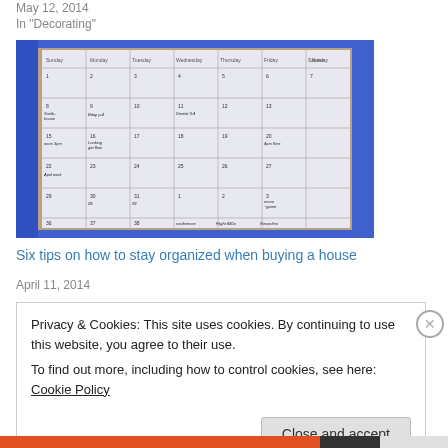May 12, 2014
In "Decorating"
[Figure (photo): A handwritten monthly calendar/planner open on a wooden surface, with a blue binder border. The calendar has multiple weeks with handwritten notes in the date cells.]
Six tips on how to stay organized when buying a house
April 11, 2014
Privacy & Cookies: This site uses cookies. By continuing to use this website, you agree to their use.
To find out more, including how to control cookies, see here: Cookie Policy
Close and accept